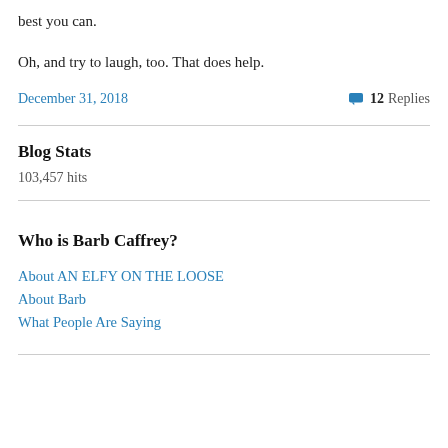best you can.
Oh, and try to laugh, too. That does help.
December 31, 2018    💬 12 Replies
Blog Stats
103,457 hits
Who is Barb Caffrey?
About AN ELFY ON THE LOOSE
About Barb
What People Are Saying